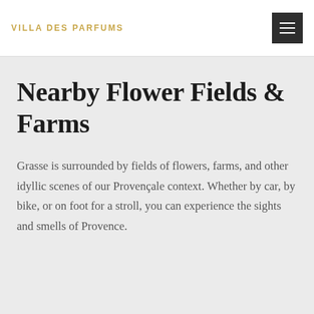VILLA DES PARFUMS
Nearby Flower Fields & Farms
Grasse is surrounded by fields of flowers, farms, and other idyllic scenes of our Provençale context. Whether by car, by bike, or on foot for a stroll, you can experience the sights and smells of Provence.